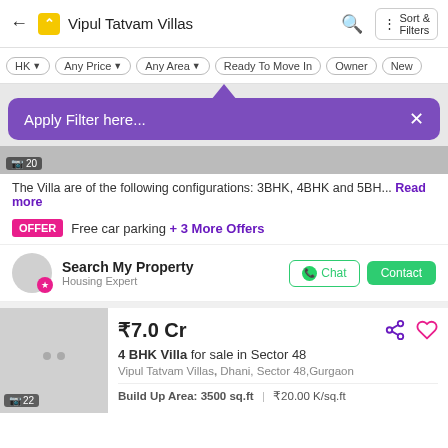Vipul Tatvam Villas
[Figure (screenshot): Mobile app filter bar with pills: HK, Any Price, Any Area, Ready To Move In, Owner, New]
[Figure (screenshot): Purple tooltip popup saying 'Apply Filter here...' with close X button and upward arrow]
The Villa are of the following configurations: 3BHK, 4BHK and 5BH... Read more
OFFER  Free car parking + 3 More Offers
Search My Property
Housing Expert
₹7.0 Cr
4 BHK Villa for sale in Sector 48
Vipul Tatvam Villas, Dhani, Sector 48,Gurgaon
Build Up Area: 3500 sq.ft  |  ₹20.00 K/sq.ft